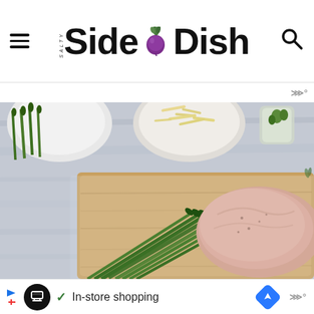Salty Side Dish - navigation header with hamburger menu, logo, and search icon
[Figure (photo): Food photography showing raw chicken breast with fresh asparagus spears on a wooden cutting board, with a bowl of shredded cheese in the background, on a whitewashed wood surface. The Salty Side Dish logo watermark is visible on the image.]
In-store shopping
Advertisement bar: In-store shopping with navigation icon